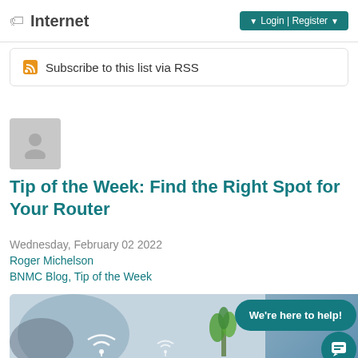Internet  Login | Register
Subscribe to this list via RSS
[Figure (illustration): Grey placeholder avatar/person icon]
Tip of the Week: Find the Right Spot for Your Router
Wednesday, February 02 2022
Roger Michelson
BNMC Blog, Tip of the Week
[Figure (photo): Blurred photo of a router with WiFi signal icon, a person holding a phone in background, and a plant on the right. Overlaid with a teal chat bubble saying 'We're here to help!' and a teal chat icon circle.]